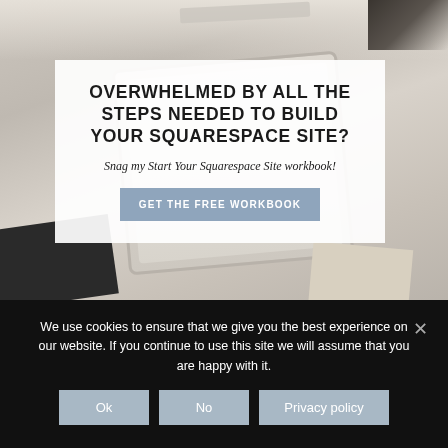[Figure (screenshot): Website screenshot showing a promotional banner with a desk/tablet flatlay photo background. A semi-transparent white box overlays the center with bold uppercase headline text, italic subheadline, and a blue-grey CTA button.]
OVERWHELMED BY ALL THE STEPS NEEDED TO BUILD YOUR SQUARESPACE SITE?
Snag my Start Your Squarespace Site workbook!
GET THE FREE WORKBOOK
We use cookies to ensure that we give you the best experience on our website. If you continue to use this site we will assume that you are happy with it.
Ok  No  Privacy policy